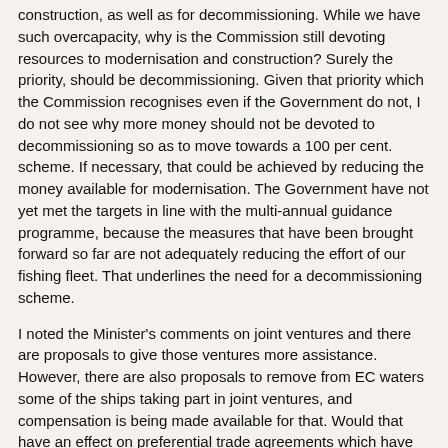construction, as well as for decommissioning. While we have such overcapacity, why is the Commission still devoting resources to modernisation and construction? Surely the priority, should be decommissioning. Given that priority which the Commission recognises even if the Government do not, I do not see why more money should not be devoted to decommissioning so as to move towards a 100 per cent. scheme. If necessary, that could be achieved by reducing the money available for modernisation. The Government have not yet met the targets in line with the multi-annual guidance programme, because the measures that have been brought forward so far are not adequately reducing the effort of our fishing fleet. That underlines the need for a decommissioning scheme.
I noted the Minister's comments on joint ventures and there are proposals to give those ventures more assistance. However, there are also proposals to remove from EC waters some of the ships taking part in joint ventures, and compensation is being made available for that. Would that have an effect on preferential trade agreements which have been built up with third countries? I hope that the Minister will consider that point.
I understood the Minister's point about the Canadian problem and the fact that as a result, in particular, of Spanish over-fishing due to the EC's failure to agree quotas with the North Atlantic Fishing Organisation,